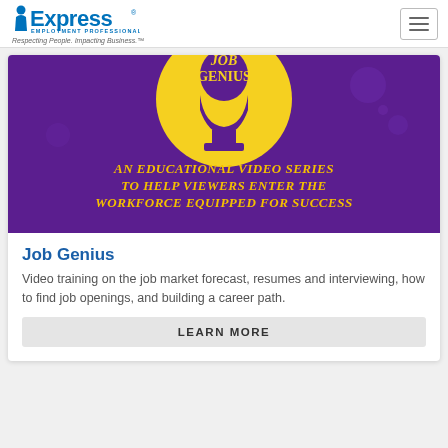[Figure (logo): Express Employment Professionals logo with tagline 'Respecting People. Impacting Business.']
[Figure (illustration): Job Genius banner image on purple background with yellow circle showing a head silhouette and text 'AN EDUCATIONAL VIDEO SERIES TO HELP VIEWERS ENTER THE WORKFORCE EQUIPPED FOR SUCCESS']
Job Genius
Video training on the job market forecast, resumes and interviewing, how to find job openings, and building a career path.
LEARN MORE